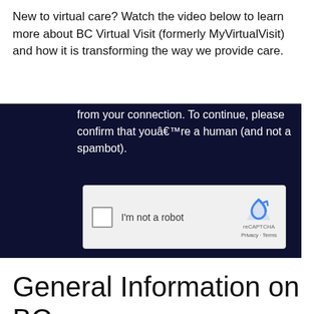New to virtual care? Watch the video below to learn more about BC Virtual Visit (formerly MyVirtualVisit) and how it is transforming the way we provide care.
[Figure (screenshot): Dark navy blue box showing a reCAPTCHA verification widget. Text reads: 'from your connection. To continue, please confirm that youâ€™re a human (and not a spambot).' Below is a reCAPTCHA checkbox widget with 'I'm not a robot' label and reCAPTCHA logo with Privacy and Terms links.]
General Information on BC Virtual Visit